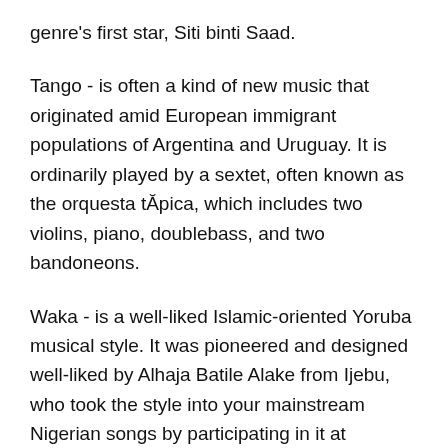genre's first star, Siti binti Saad.
Tango - is often a kind of new music that originated amid European immigrant populations of Argentina and Uruguay. It is ordinarily played by a sextet, often known as the orquesta tĂpica, which includes two violins, piano, doublebass, and two bandoneons.
Waka - is a well-liked Islamic-oriented Yoruba musical style. It was pioneered and designed well-liked by Alhaja Batile Alake from Ijebu, who took the style into your mainstream Nigerian songs by participating in it at concerts and functions; also, she was the first waka singer to file an album.
Wassoulou - is usually a genre of West African well-known